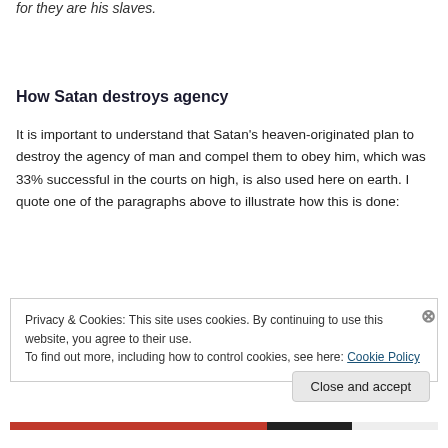for they are his slaves.
How Satan destroys agency
It is important to understand that Satan’s heaven-originated plan to destroy the agency of man and compel them to obey him, which was 33% successful in the courts on high, is also used here on earth. I quote one of the paragraphs above to illustrate how this is done:
Privacy & Cookies: This site uses cookies. By continuing to use this website, you agree to their use.
To find out more, including how to control cookies, see here: Cookie Policy
Close and accept